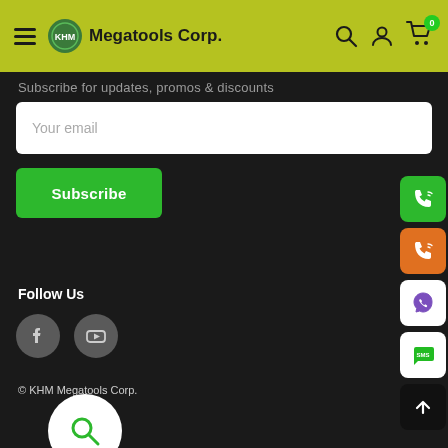Megatools Corp. — navigation header with hamburger menu, logo, search, account, cart (0)
Subscribe for updates, promos & discounts
Your email
Subscribe
Follow Us
[Figure (illustration): Facebook and YouTube social media icons as grey circles]
[Figure (illustration): Floating side contact buttons: green phone, orange phone, Viber (white/purple), SMS (white/green), back-to-top (black/white arrow up)]
© KHM Megatools Corp.
[Figure (illustration): White circle search button at the bottom of the page]